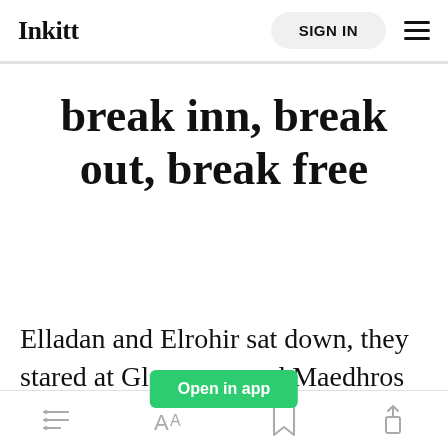Inkitt | SIGN IN
break inn, break out, break free
Elladan and Elrohir sat down, they stared at Glorfindel and Maedhros
[Figure (other): Open in app green button overlay]
Bottom toolbar with list, font, bookmark, share icons